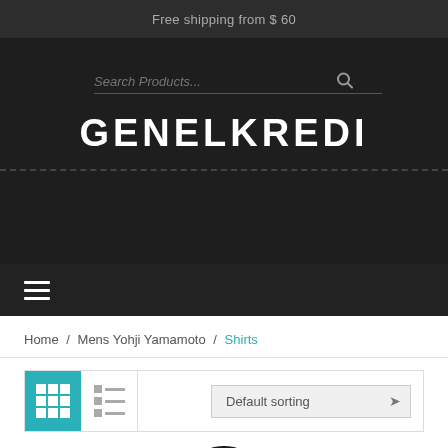Free shipping from $ 60
[Figure (logo): GENELKREDI logo text in white capital letters on dark background]
Home / Mens Yohji Yamamoto / Shirts
Default sorting
[Figure (photo): Black garment product photo, partially visible, with SALE badge in bottom right corner]